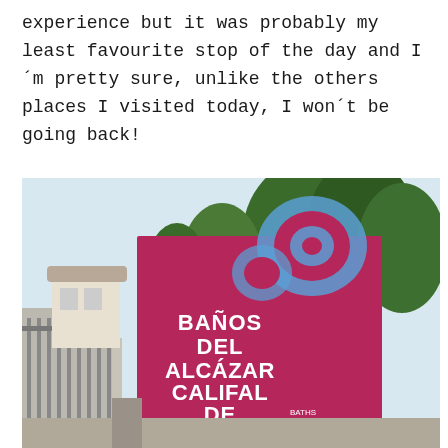experience but it was probably my least favourite stop of the day and I´m pretty sure, unlike the others places I visited today, I won´t be going back!
[Figure (photo): A photograph of a large magenta/pink sign for 'Baños del Alcázar Califal de Córdoba' (Baths of the Caliphate Alcazar in Cordoba), with a decorative blue scroll motif at the top. Trees and a building are visible in the background.]